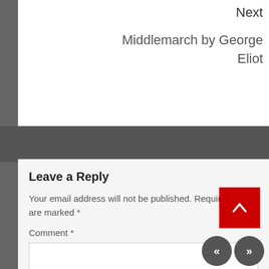Next
Middlemarch by George Eliot
Leave a Reply
Your email address will not be published. Required fields are marked *
Comment *